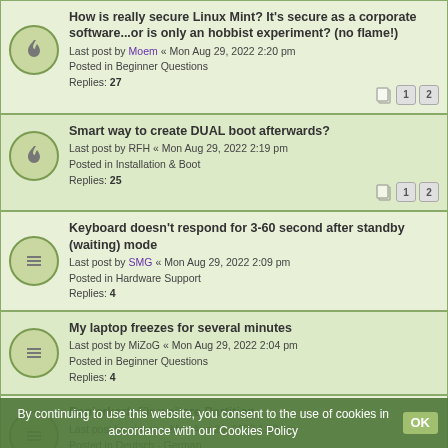How is really secure Linux Mint? It's secure as a corporate software...or is only an hobbist experiment? (no flame!) — Last post by Moem « Mon Aug 29, 2022 2:20 pm — Posted in Beginner Questions — Replies: 27
Smart way to create DUAL boot afterwards? — Last post by RFH « Mon Aug 29, 2022 2:19 pm — Posted in Installation & Boot — Replies: 25
Keyboard doesn't respond for 3-60 second after standby (waiting) mode — Last post by SMG « Mon Aug 29, 2022 2:09 pm — Posted in Hardware Support — Replies: 4
My laptop freezes for several minutes — Last post by MiZoG « Mon Aug 29, 2022 2:04 pm — Posted in Beginner Questions — Replies: 4
Papierkorb für weitere Partition — Last post by ehtron « Mon Aug 29, 2022 1:59 pm — Posted in Deutsch - German — Replies: 3
Mint 21 not Logging into Windows 2000 Server — Last post by djph « Mon Aug 29, 2022 1:50 pm — Posted in Beginner Questions
By continuing to use this website, you consent to the use of cookies in accordance with our Cookies Policy